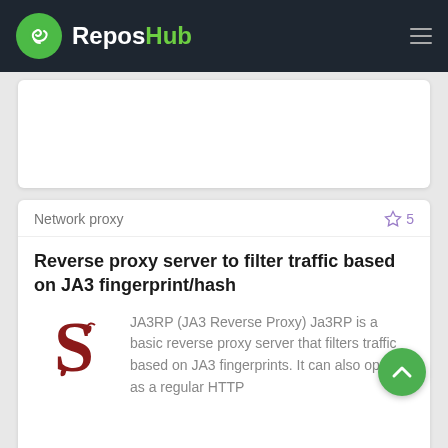ReposHub
Network proxy    ☆ 5
Reverse proxy server to filter traffic based on JA3 fingerprint/hash
JA3RP (JA3 Reverse Proxy) Ja3RP is a basic reverse proxy server that filters traffic based on JA3 fingerprints. It can also operate as a regular HTTP
Network proxy    ☆ 10